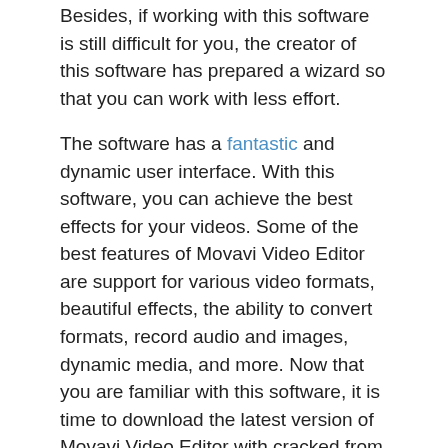Besides, if working with this software is still difficult for you, the creator of this software has prepared a wizard so that you can work with less effort.
The software has a fantastic and dynamic user interface. With this software, you can achieve the best effects for your videos. Some of the best features of Movavi Video Editor are support for various video formats, beautiful effects, the ability to convert formats, record audio and images, dynamic media, and more. Now that you are familiar with this software, it is time to download the latest version of Movavi Video Editor with cracked from the Daycrack website.
Feature Movavi Video Editor with Crack:
Automatic quality improvement